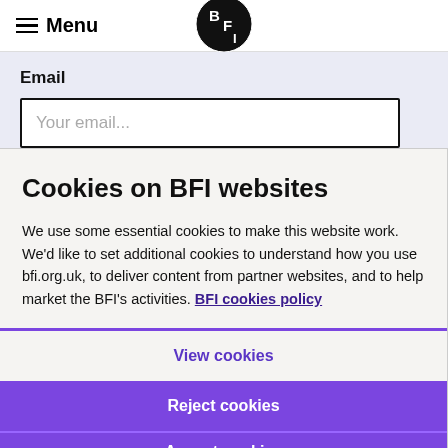Menu | BFI logo
Email
Your email...
Cookies on BFI websites
We use some essential cookies to make this website work. We'd like to set additional cookies to understand how you use bfi.org.uk, to deliver content from partner websites, and to help market the BFI's activities. BFI cookies policy
View cookies
Reject cookies
Accept cookies